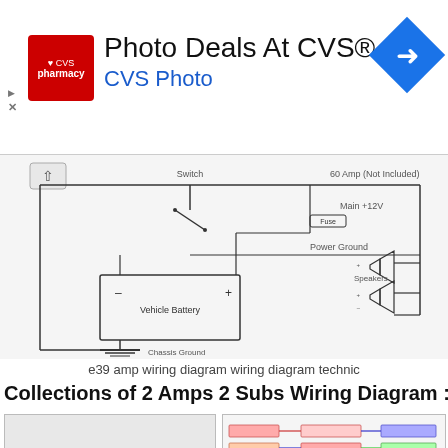[Figure (screenshot): CVS Pharmacy ad banner with logo, 'Photo Deals At CVS®' heading, 'CVS Photo' subtitle, and blue diamond navigation icon]
[Figure (schematic): E39 amp wiring diagram showing vehicle battery, switch, chassis ground, fuse, 60 Amp (Not Included), Main +12V, Power Ground, and Speakers connections]
e39 amp wiring diagram wiring diagram technic
Collections of 2 Amps 2 Subs Wiring Diagram :
[Figure (schematic): Wiring diagram thumbnail showing subwoofer and amplifier with wiring connections]
[Figure (schematic): Wiring diagram thumbnail showing complex car audio wiring with colored cables for 2 amps 2 subs]